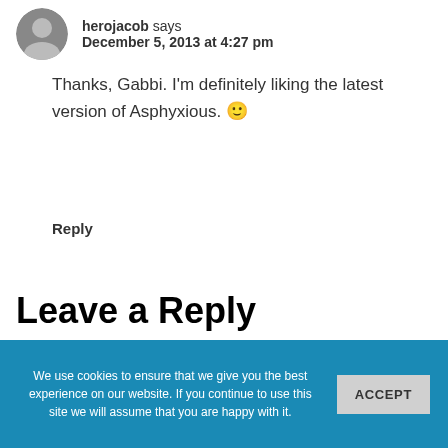[Figure (photo): Circular avatar image of a user (herojacob)]
herojacob says
December 5, 2013 at 4:27 pm
Thanks, Gabbi. I'm definitely liking the latest version of Asphyxious. 🙂
Reply
Leave a Reply
Your email address will not be published.
Required fields are marked *
We use cookies to ensure that we give you the best experience on our website. If you continue to use this site we will assume that you are happy with it.